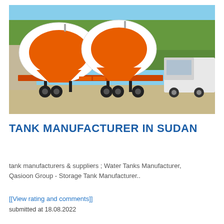[Figure (photo): Two orange and white bulk cement tanker semi-trailers parked outdoors, with a white truck visible on the right side and trees in the background.]
TANK MANUFACTURER IN SUDAN
tank manufacturers & suppliers ; Water Tanks Manufacturer, Qasioon Group - Storage Tank Manufacturer..
[[View rating and comments]]
submitted at 18.08.2022